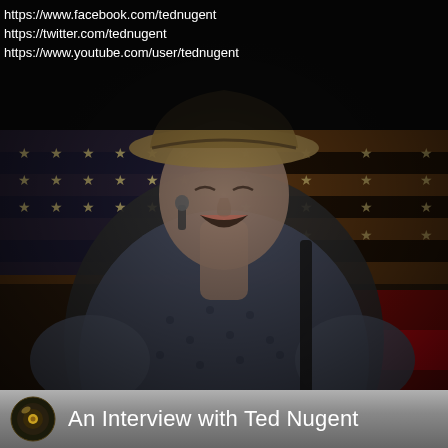https://www.facebook.com/tednugent
https://twitter.com/tednugent
https://www.youtube.com/user/tednugent
[Figure (photo): Performer wearing a cowboy hat and patterned shirt singing on stage with an American flag in the background]
An Interview with Ted Nugent